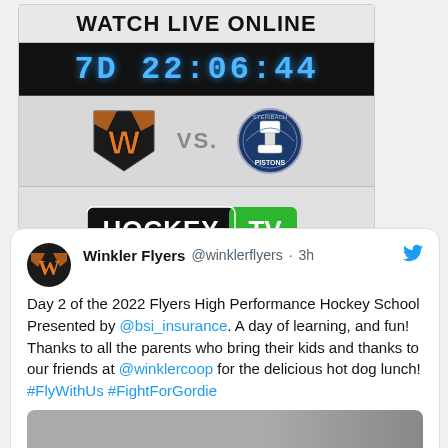WATCH LIVE ONLINE
7D 22:06:44
[Figure (logo): Winkler Flyers orange W logo vs Steinbach Pistons logo]
[Figure (logo): HockeyTV logo]
CLICK TO WATCH: WWW.HOCKEYTV.COM
Winkler Flyers @winklerflyers · 3h
Day 2 of the 2022 Flyers High Performance Hockey School Presented by @bsi_insurance. A day of learning, and fun! Thanks to all the parents who bring their kids and thanks to our friends at @winklercoop for the delicious hot dog lunch! #FlyWithUs #FightForGordie
[Figure (photo): Tweet embedded photo of hockey school]